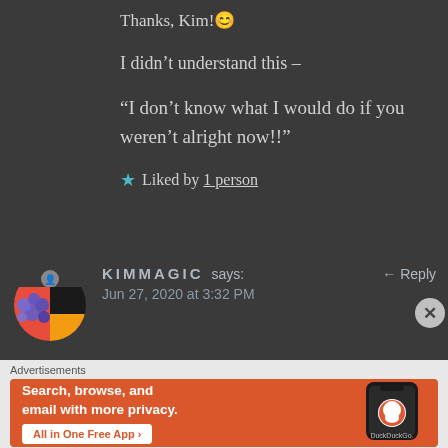Thanks, Kim! 😊
I didn't understand this –
“I don't know what I would do if you weren't alright now!!”
★ Liked by 1 person
KIMMAGIC says: ← Reply
Jun 27, 2020 at 3:32 PM
[Figure (other): DuckDuckGo advertisement banner: Search, browse, and email with more privacy. All in One Free App.]